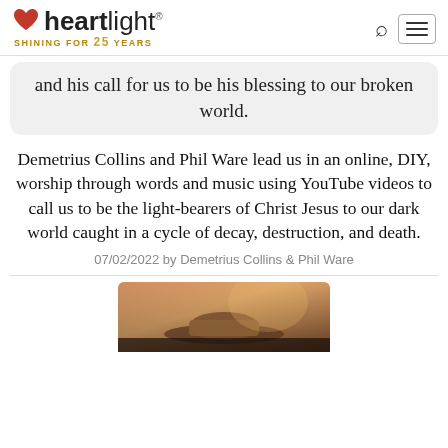heartlight SHINING FOR 25 YEARS
and his call for us to be his blessing to our broken world.
Demetrius Collins and Phil Ware lead us in an online, DIY, worship through words and music using YouTube videos to call us to be the light-bearers of Christ Jesus to our dark world caught in a cycle of decay, destruction, and death.
07/02/2022 by Demetrius Collins & Phil Ware
[Figure (photo): Photo of a hat or object on a dark surface with warm lighting]